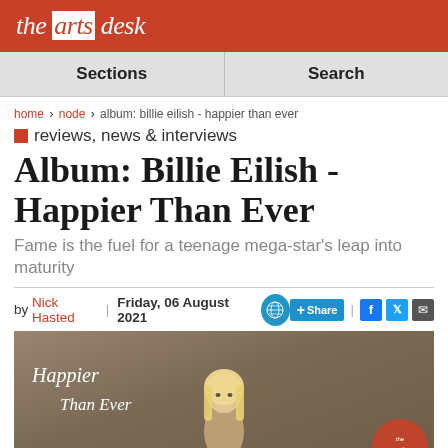the arts desk
Sections | Search
home > node > album: billie eilish - happier than ever
■ reviews, news & interviews
Album: Billie Eilish - Happier Than Ever
Fame is the fuel for a teenage mega-star's leap into maturity
by Nick Hasted | Friday, 06 August 2021
[Figure (photo): Album cover for Billie Eilish Happier Than Ever showing a blonde woman with text 'Happier Than Ever' in script font]